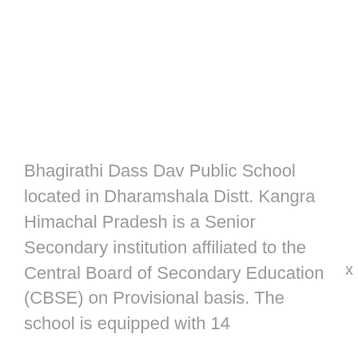Bhagirathi Dass Dav Public School located in Dharamshala Distt. Kangra Himachal Pradesh is a Senior Secondary institution affiliated to the Central Board of Secondary Education (CBSE) on Provisional basis. The school is equipped with 14